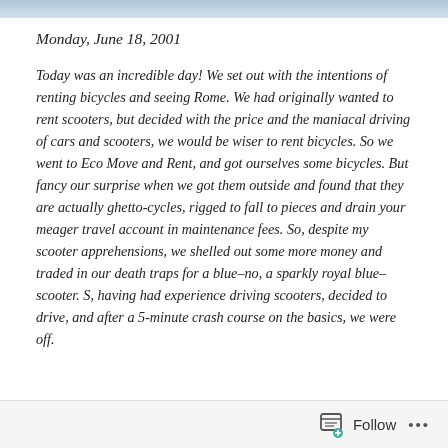[Figure (photo): Partial photo strip at top of page, showing a colorful scene, mostly cropped out of view.]
Monday, June 18, 2001
Today was an incredible day!  We set out with the intentions of renting bicycles and seeing Rome.  We had originally wanted to rent scooters, but decided with the price and the maniacal driving of cars and scooters, we would be wiser to rent bicycles.  So we went to Eco Move and Rent, and got ourselves some bicycles.  But fancy our surprise when we got them outside and found that they are actually ghetto-cycles, rigged to fall to pieces and drain your meager travel account in maintenance fees.  So, despite my scooter apprehensions, we shelled out some more money and traded in our death traps for a blue–no, a sparkly royal blue–scooter.  S, having had experience driving scooters, decided to drive, and after a 5-minute crash course on the basics, we were off.
Follow ...